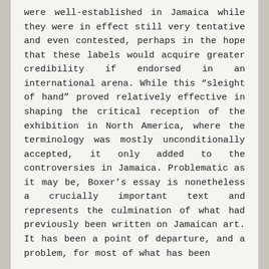were well-established in Jamaica while they were in effect still very tentative and even contested, perhaps in the hope that these labels would acquire greater credibility if endorsed in an international arena. While this “sleight of hand” proved relatively effective in shaping the critical reception of the exhibition in North America, where the terminology was mostly unconditionally accepted, it only added to the controversies in Jamaica. Problematic as it may be, Boxer’s essay is nonetheless a crucially important text and represents the culmination of what had previously been written on Jamaican art. It has been a point of departure, and a problem, for most of what has been